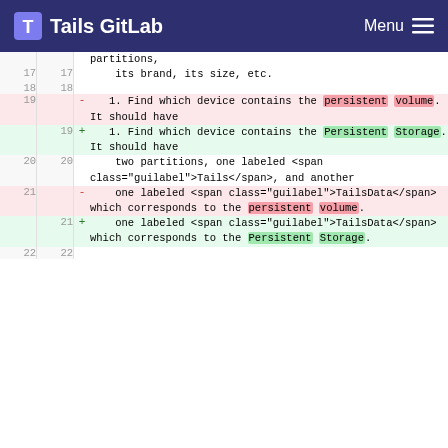Tails GitLab  Menu
| old_line | new_line | sign | code |
| --- | --- | --- | --- |
|  |  |  | partitions, |
| 17 | 17 |  |     its brand, its size, etc. |
| 18 | 18 |  |  |
| 19 |  | - | 1. Find which device contains the persistent volume. It should have |
|  | 19 | + | 1. Find which device contains the Persistent Storage. It should have |
| 20 | 20 |  |     two partitions, one labeled <span class="guilabel">Tails</span>, and another |
| 21 |  | - |     one labeled <span class="guilabel">TailsData</span> which corresponds to the persistent volume. |
|  | 21 | + |     one labeled <span class="guilabel">TailsData</span> which corresponds to the Persistent Storage. |
| 22 | 22 |  |  |